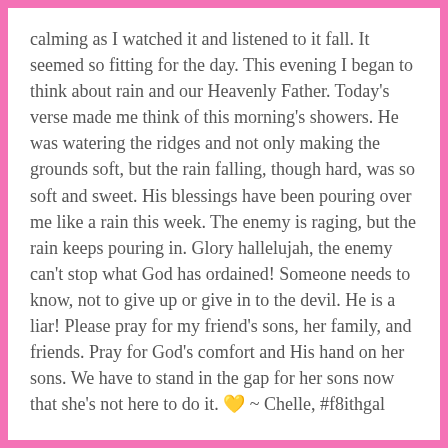calming as I watched it and listened to it fall. It seemed so fitting for the day. This evening I began to think about rain and our Heavenly Father. Today's verse made me think of this morning's showers. He was watering the ridges and not only making the grounds soft, but the rain falling, though hard, was so soft and sweet. His blessings have been pouring over me like a rain this week. The enemy is raging, but the rain keeps pouring in. Glory hallelujah, the enemy can't stop what God has ordained! Someone needs to know, not to give up or give in to the devil. He is a liar! Please pray for my friend's sons, her family, and friends. Pray for God's comfort and His hand on her sons. We have to stand in the gap for her sons now that she's not here to do it. 💛 ~ Chelle, #f8ithgal
"Thou waterest the ridges thereof abundantly: thou settlest the furrows thereof: thou makest it soft with showers: thou blessest the springing thereof." ~ Psalm 65:10